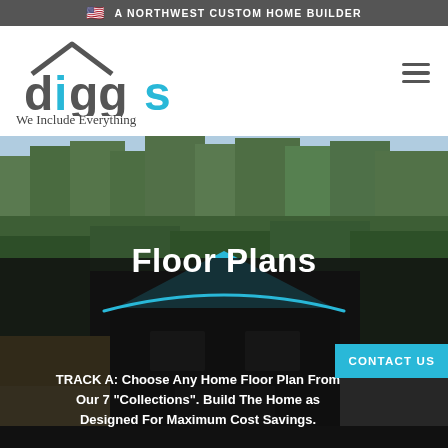A NORTHWEST CUSTOM HOME BUILDER
[Figure (logo): Diggs logo with house roofline graphic, text 'diggs' in dark gray and blue, tagline 'We Include Everything']
[Figure (photo): Photo of a modern custom home with dark siding and blue accent roof, surrounded by tall evergreen trees]
Floor Plans
TRACK A: Choose Any Home Floor Plan From Our 7 "Collections". Build The Home as Designed For Maximum Cost Savings.